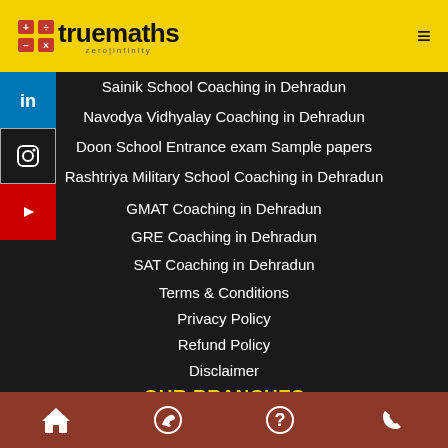truemaths — zero|infinity
Sainik School Coaching in Dehradun
Navodya Vidhyalay Coaching in Dehradun
Doon School Entrance exam Sample papers
Rashtriya Military School Coaching in Dehradun
GMAT Coaching in Dehradun
GRE Coaching in Dehradun
SAT Coaching in Dehradun
Terms & Conditions
Privacy Policy
Refund Policy
Disclaimer
OUR BRANCHES
Sahastradhara Road
Home | WhatsApp | Help | Phone